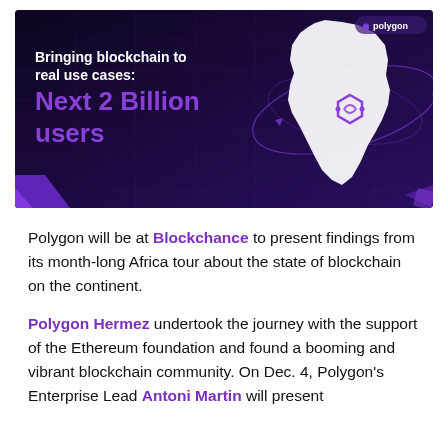[Figure (illustration): Dark purple banner image with Polygon branding. Text reads 'Bringing blockchain to real use cases: Next 2 Billion users'. Shows a white silhouette map of Africa with the Polygon logo (infinity-like symbol) overlaid, surrounded by orbital ring lines. Purple 3D shapes visible at bottom corners. Polygon logo in top right corner.]
Polygon will be at Blockchance to present findings from its month-long Africa tour about the state of blockchain on the continent.
Polygon Hermez undertook the journey with the support of the Ethereum foundation and found a booming and vibrant blockchain community. On Dec. 4, Polygon's Enterprise Lead Antoni Martin will present